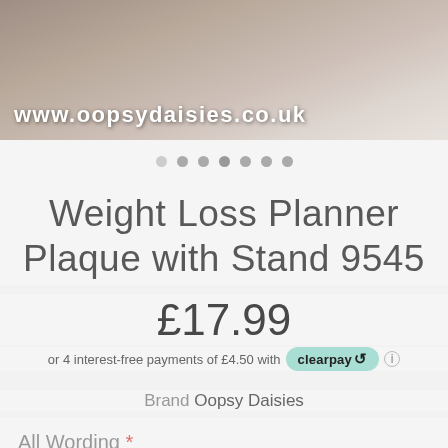www.oopsydaisies.co.uk
[Figure (other): Navigation dots / image carousel indicator row with 7 circular dots]
Weight Loss Planner Plaque with Stand 9545
£17.99
or 4 interest-free payments of £4.50 with clearpay
Brand Oopsy Daisies
All Wording *